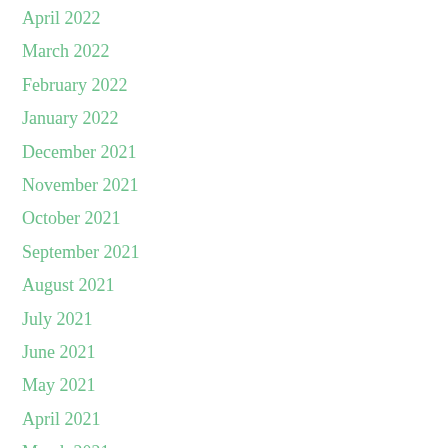April 2022
March 2022
February 2022
January 2022
December 2021
November 2021
October 2021
September 2021
August 2021
July 2021
June 2021
May 2021
April 2021
March 2021
February 2021
January 2021
December 2020